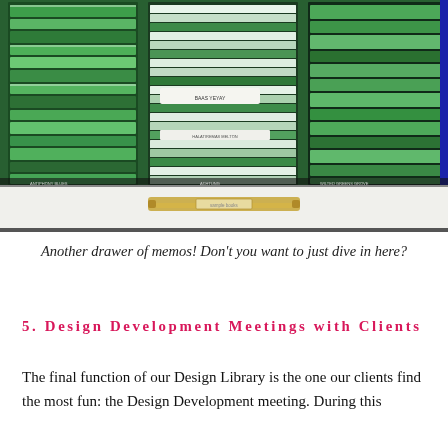[Figure (photo): Overhead view of open drawers filled with green fabric swatches and memo samples organized in rows, with a white drawer below showing a brass pull handle.]
Another drawer of memos! Don't you want to just dive in here?
5. Design Development Meetings with Clients
The final function of our Design Library is the one our clients find the most fun: the Design Development meeting. During this